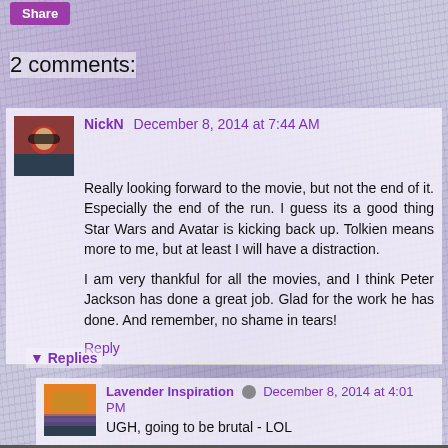Share
2 comments:
NickN December 8, 2014 at 7:44 AM
Really looking forward to the movie, but not the end of it. Especially the end of the run. I guess its a good thing Star Wars and Avatar is kicking back up. Tolkien means more to me, but at least I will have a distraction.
I am very thankful for all the movies, and I think Peter Jackson has done a great job. Glad for the work he has done. And remember, no shame in tears!
Reply
▼ Replies
Lavender Inspiration 🔘 December 8, 2014 at 4:01 PM
UGH, going to be brutal - LOL